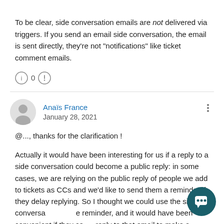To be clear, side conversation emails are not delivered via triggers. If you send an email side conversation, the email is sent directly, they're not "notifications" like ticket comment emails.
⓵ 0 ⓵
Anaïs France
January 28, 2021
@..., thanks for the clarification !
Actually it would have been interesting for us if a reply to a side conversation could become a public reply: in some cases, we are relying on the public reply of people we add to tickets as CCs and we'd like to send them a reminder if they delay replying. So I thought we could use the side conversation as a reminder, and it would have been convenient if they could reply to that email to make a public reply, but I suppose this is not the purpose of this feature.